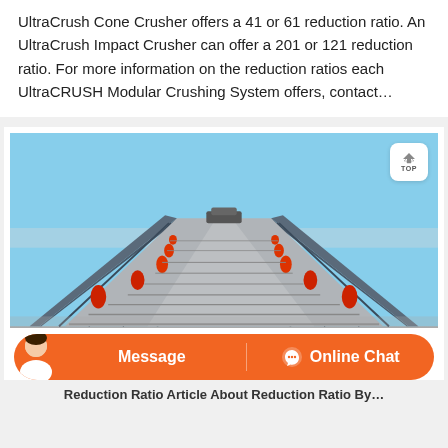UltraCrush Cone Crusher offers a 41 or 61 reduction ratio. An UltraCrush Impact Crusher can offer a 201 or 121 reduction ratio. For more information on the reduction ratios each UltraCRUSH Modular Crushing System offers, contact…
[Figure (photo): Industrial conveyor belt photographed from ground level looking up its length, with metal railings on both sides and red rollers visible. Blue sky in background.]
Reduction Ratio Article About Reduction Ratio By…